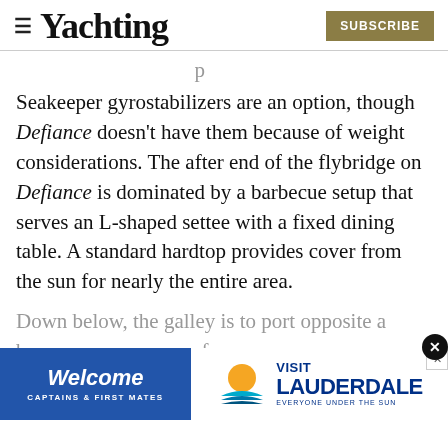Yachting | SUBSCRIBE
Seakeeper gyrostabilizers are an option, though Defiance doesn't have them because of weight considerations. The after end of the flybridge on Defiance is dominated by a barbecue setup that serves an L-shaped settee with a fixed dining table. A standard hardtop provides cover from the sun for nearly the entire area.
Down below, the galley is to port opposite a br... of a... motion sliding partition...
[Figure (infographic): Advertisement banner: Welcome Captains & First Mates (blue background) alongside Visit Lauderdale logo with sun/water graphic and close button]